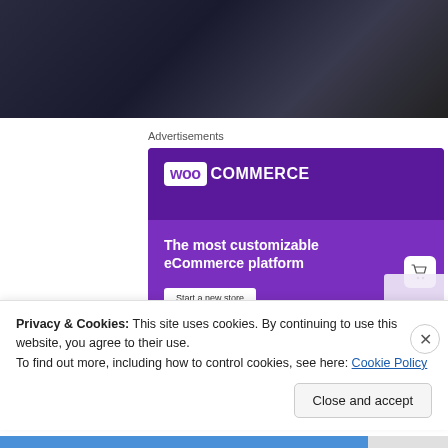[Figure (photo): Dark background photo strip at top of page]
Advertisements
[Figure (infographic): WooCommerce advertisement banner with purple background. Shows WooCommerce logo at top, tagline 'The most customizable eCommerce platform', a 'Start a new store' button, and a shopping cart icon.]
Privacy & Cookies: This site uses cookies. By continuing to use this website, you agree to their use.
To find out more, including how to control cookies, see here: Cookie Policy
Close and accept